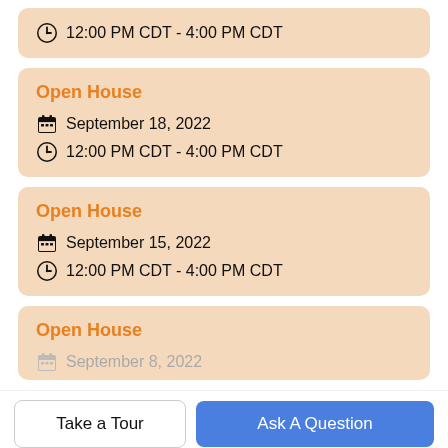12:00 PM CDT - 4:00 PM CDT
Open House
September 18, 2022
12:00 PM CDT - 4:00 PM CDT
Open House
September 15, 2022
12:00 PM CDT - 4:00 PM CDT
Open House
September 8, 2022 (partially visible)
Take a Tour
Ask A Question